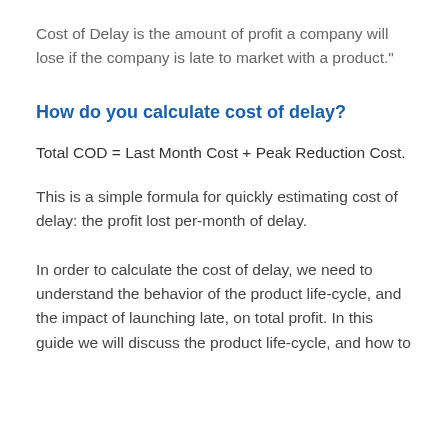Cost of Delay is the amount of profit a company will lose if the company is late to market with a product."
How do you calculate cost of delay?
This is a simple formula for quickly estimating cost of delay: the profit lost per-month of delay.
In order to calculate the cost of delay, we need to understand the behavior of the product life-cycle, and the impact of launching late, on total profit. In this guide we will discuss the product life-cycle, and how to